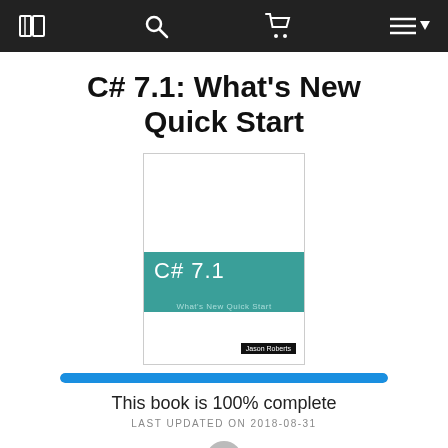Navigation bar with book, search, cart, and menu icons
C# 7.1: What's New Quick Start
[Figure (illustration): Book cover for 'C# 7.1: What's New Quick Start' by Jason Roberts. White cover with teal band showing 'C# 7.1' in large text and 'What's New Quick Start' subtitle. Author name 'Jason Roberts' in black bar at bottom right.]
This book is 100% complete
LAST UPDATED ON 2018-08-31